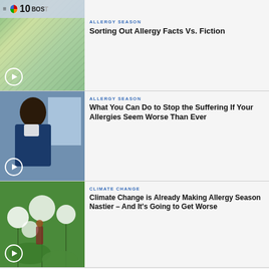[Figure (screenshot): NBC Boston logo overlay on photo of person sneezing]
ALLERGY SEASON
Sorting Out Allergy Facts Vs. Fiction
[Figure (photo): Woman with curly hair blowing nose at desk]
ALLERGY SEASON
What You Can Do to Stop the Suffering If Your Allergies Seem Worse Than Ever
[Figure (photo): Dandelions and green plants outdoors]
CLIMATE CHANGE
Climate Change is Already Making Allergy Season Nastier – And It's Going to Get Worse